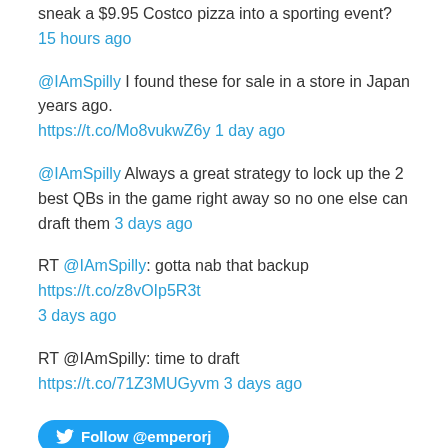sneak a $9.95 Costco pizza into a sporting event? 15 hours ago
@IAmSpilly I found these for sale in a store in Japan years ago. https://t.co/Mo8vukwZ6y 1 day ago
@IAmSpilly Always a great strategy to lock up the 2 best QBs in the game right away so no one else can draft them 3 days ago
RT @IAmSpilly: gotta nab that backup https://t.co/z8vOIp5R3t 3 days ago
RT @IAmSpilly: time to draft https://t.co/71Z3MUGyvm 3 days ago
[Figure (other): Follow @emperorj Twitter button]
Posts by Category
00s Retrospective (41)
12 Days of Something (72)
30 Favorite Anime (5)
Blogging Legend of the Galactic Heroes (164)